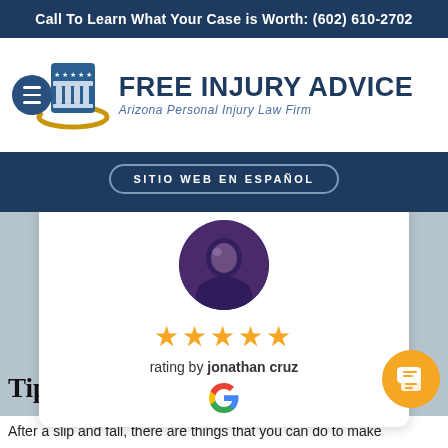Call To Learn What Your Case is Worth: (602) 610-2702
[Figure (logo): Free Injury Advice logo — shield/pillar icon with gold arc, text FREE INJURY ADVICE / Arizona Personal Injury Law Firm]
SITIO WEB EN ESPAÑOL
[Figure (photo): Review card with circular photo of reviewer, 5 gold stars, text 'rating by jonathan cruz', Google G logo]
Tips fo
After a slip and fall, there are things that you can do to make